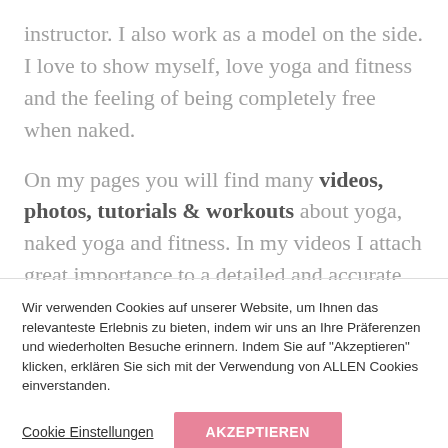instructor. I also work as a model on the side. I love to show myself, love yoga and fitness and the feeling of being completely free when naked.

On my pages you will find many videos, photos, tutorials & workouts about yoga, naked yoga and fitness. In my videos I attach great importance to a detailed and accurate
Wir verwenden Cookies auf unserer Website, um Ihnen das relevanteste Erlebnis zu bieten, indem wir uns an Ihre Präferenzen und wiederholten Besuche erinnern. Indem Sie auf "Akzeptieren" klicken, erklären Sie sich mit der Verwendung von ALLEN Cookies einverstanden.
Cookie Einstellungen
AKZEPTIEREN